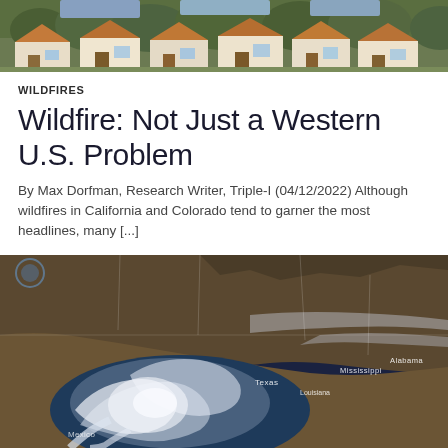[Figure (photo): Aerial or street-level photo of suburban houses with trees in the background]
WILDFIRES
Wildfire: Not Just a Western U.S. Problem
By Max Dorfman, Research Writer, Triple-I (04/12/2022) Although wildfires in California and Colorado tend to garner the most headlines, many [...]
[Figure (map): Satellite imagery map showing weather/storm system over the southern United States, with state labels including Texas, Mississippi, Alabama, Louisiana, and Mexico visible]